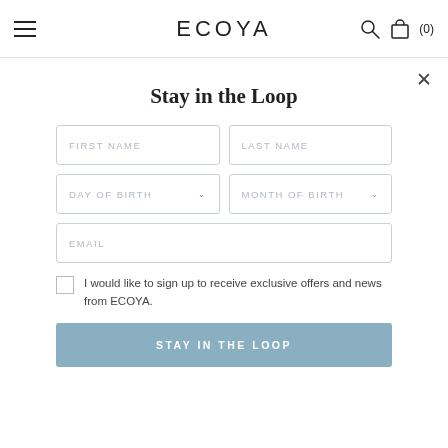ECOYA
Housed in a beautiful glass jar topped with a silver lid, the ECOYA Fragranced Diffuser is designed to fill small to medium spaces with a long-lasting scent.
Stay in the Loop
FIRST NAME
LAST NAME
DAY OF BIRTH
MONTH OF BIRTH
EMAIL
I would like to sign up to receive exclusive offers and news from ECOYA.
STAY IN THE LOOP